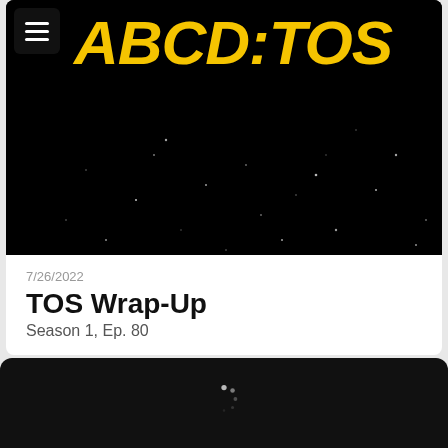[Figure (logo): ABCD:TOS podcast logo — bold italic yellow text on black starfield background with hamburger menu icon in top-left]
7/26/2022
TOS Wrap-Up
Season 1, Ep. 80
[Figure (screenshot): Black loading screen with a circular spinner animation in the center]